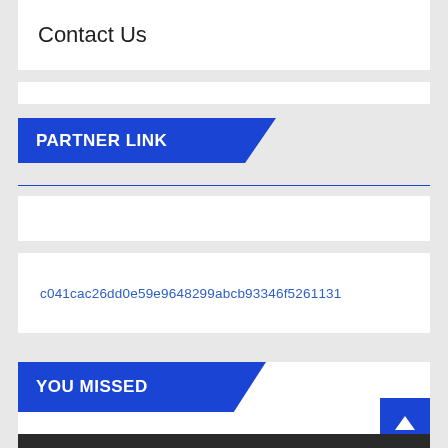Contact Us
PARTNER LINK
c041cac26dd0e59e9648299abcb93346f5261131
YOU MISSED